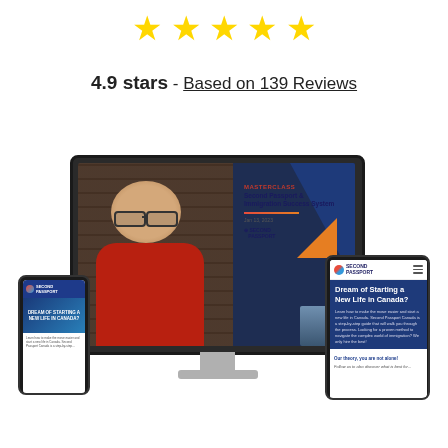[Figure (illustration): Five gold/yellow stars rating display]
4.9 stars - Based on 139 Reviews
[Figure (photo): Marketing materials mockup showing a desktop monitor with a masterclass video featuring a man in a red shirt, flanked by a smartphone on the left and a tablet on the right, both showing the Second Passport website]